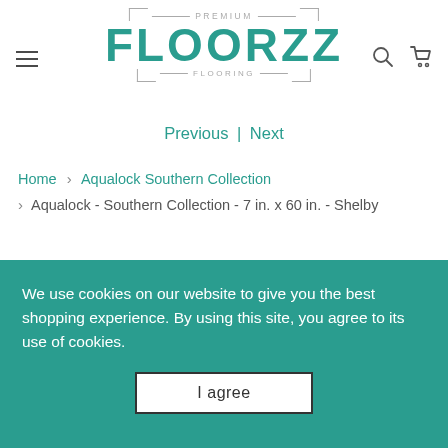PREMIUM FLOORZZ FLOORING
Previous | Next
Home > Aqualock Southern Collection > Aqualock - Southern Collection - 7 in. x 60 in. - Shelby
We use cookies on our website to give you the best shopping experience. By using this site, you agree to its use of cookies.
I agree